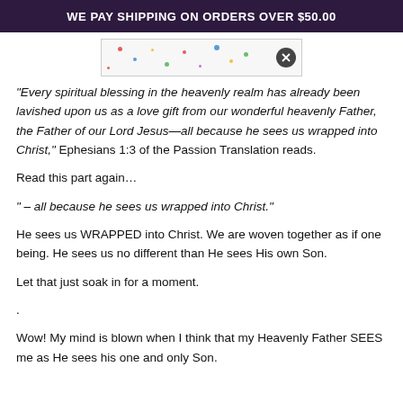WE PAY SHIPPING ON ORDERS OVER $50.00
[Figure (illustration): A banner image with colorful confetti dots on a light background with a dark close button on the right side.]
“Every spiritual blessing in the heavenly realm has already been lavished upon us as a love gift from our wonderful heavenly Father, the Father of our Lord Jesus—all because he sees us wrapped into Christ,” Ephesians 1:3 of the Passion Translation reads.
Read this part again…
“ – all because he sees us wrapped into Christ.”
He sees us WRAPPED into Christ. We are woven together as if one being. He sees us no different than He sees His own Son.
Let that just soak in for a moment.
.
Wow! My mind is blown when I think that my Heavenly Father SEES me as He sees his one and only Son.